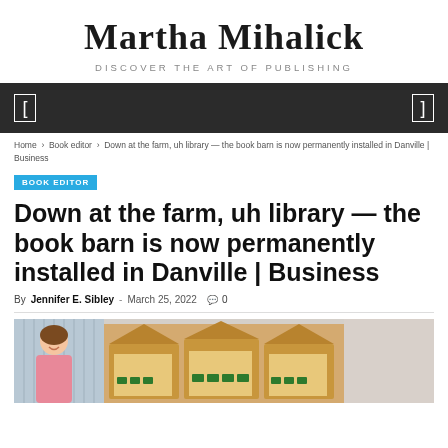Martha Mihalick — DISCOVER THE ART OF PUBLISHING
Home > Book editor > Down at the farm, uh library — the book barn is now permanently installed in Danville | Business
BOOK EDITOR
Down at the farm, uh library — the book barn is now permanently installed in Danville | Business
By Jennifer E. Sibley - March 25, 2022  0
[Figure (photo): Two women smiling inside a barn-themed library space with wooden barn-shaped bookshelves containing toy tractors and books]